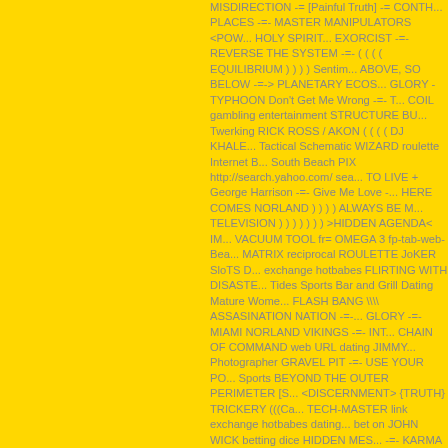MISDIRECTION -= [Painful Truth] -= CONTR... PLACES -=- MASTER MANIPULATORS <POW... HOLY SPIRIT... EXORCIST -=- REVERSE THE SYSTEM -=- ( ( ( ( EQUILIBRIUM ) ) ) ) Sentim... ABOVE, SO BELOW -=-> PLANETARY ECOS... GLORY - TYPHOON Don't Get Me Wrong -=- T... COIL gambling entertainment STRUCTURE BU... Twerking RICK ROSS / AKON ( ( ( ( DJ KHALE... Tactical Schematic WIZARD roulette Internet B... South Beach PIX http://search.yahoo.com/ sea... TO LIVE + George Harrison -=- Give Me Love -... HERE COMES NORLAND ) ) ) ) ALWAYS BE M... TELEVISION ) ) ) ) ) ) ) >HIDDEN AGENDA< IM... VACUUM TOOL fr= OMEGA 3 fp-tab-web- Bea... MATRIX reciprocal ROULETTE JoKER SloTS D... exchange hotbabes FLIRTING WITH DISASTE... Tides Sports Bar and Grill Dating Mature Wome... FLASH BANG \\ ASSASINATION NATION -=-... GLORY -=- MIAMI NORLAND VIKINGS -=- INT... CHAIN OF COMMAND web URL dating JIMMY... Photographer GRAVEL PIT -=- USE YOUR PO... Sports BEYOND THE OUTER PERIMETER [S... <DISCERNMENT> {TRUTH} TRICKERY (((Ca... TECH-MASTER link exchange hotbabes dating... bet on JOHN WICK betting dice HIDDEN MES... -=- KARMA -=- wagering ffa BACK IN BLACK ca... ANIMAL KINGDOM roulette video poker portal... http://www.alexa.com/ search?q= jimmyrocker l... and SPOOF -=- GAME PIECES +lasvegas SIG... BY LIGHT OF DAY <Dyland & Lenny - Pegate... ILLUMINATE IT -=- HIDDEN DEMONS -=-SE...